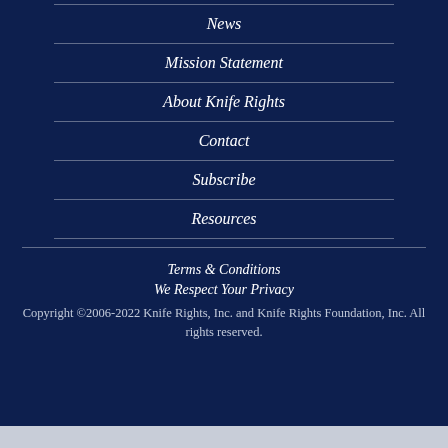News
Mission Statement
About Knife Rights
Contact
Subscribe
Resources
Terms & Conditions
We Respect Your Privacy
Copyright © 2006-2022 Knife Rights, Inc. and Knife Rights Foundation, Inc. All rights reserved.